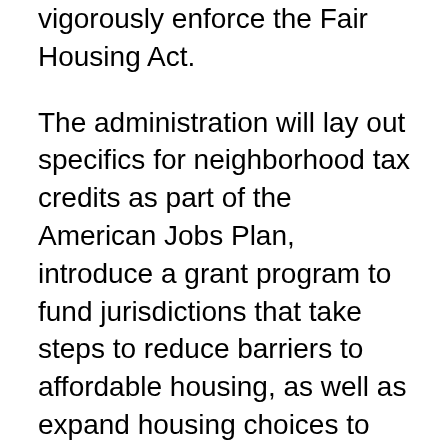vigorously enforce the Fair Housing Act.
The administration will lay out specifics for neighborhood tax credits as part of the American Jobs Plan, introduce a grant program to fund jurisdictions that take steps to reduce barriers to affordable housing, as well as expand housing choices to the low and moderate income. However, Derrick Johnson, national President of the NAACP, expressed concern that the President's proposal did not address the elimination of the student loan debt crisis. He went on to posit that student loan debt suppresses the economic prosperity of Black Americans across the nation. In response, Karine Jean-Pierre, White House principal deputy press secretary noted, The American Families Plan includes an historic $46 billion of investments in HBCU's, tribal colleges and universities, and minority serving institutions. She added “President